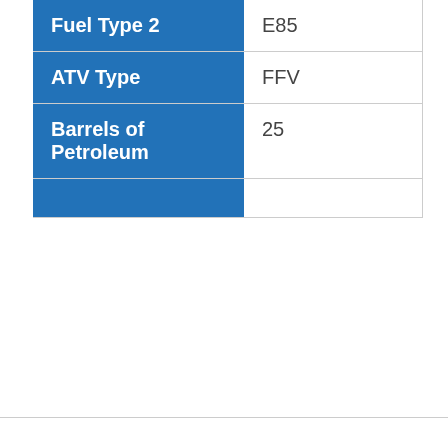| Fuel Type 2 | E85 |
| ATV Type | FFV |
| Barrels of Petroleum | 25 |
|  |  |